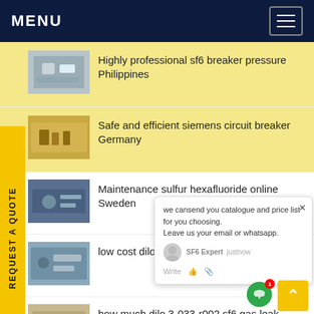MENU
Highly professional sf6 breaker pressure Philippines
Safe and efficient siemens circuit breaker Germany
Maintenance sulfur hexafluoride online Sweden
low cost dilo sf6 mexico New Zealand
how much dilo 3-033-r002 sf6 gas leak detector manual United Kingdom
where can I buy dew point meter Norway
REQUEST A QUOTE
we cansend you catalogue and price list for you choosing. Leave us your email or whatsapp.
SF6 Expert  justnow
Write